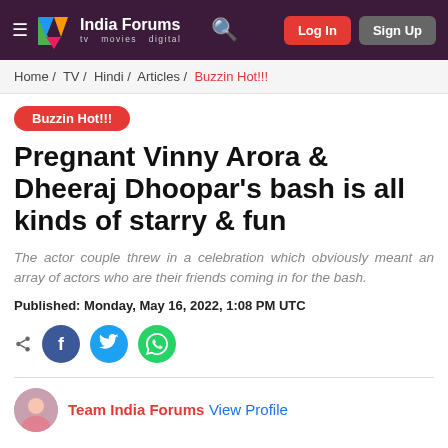India Forums — tv movies digital | Log In | Sign Up
Home / TV / Hindi / Articles / Buzzin Hot!!!
Buzzin Hot!!!
Pregnant Vinny Arora & Dheeraj Dhoopar's bash is all kinds of starry & fun
The actor couple threw in a celebration which obviously meant an array of actors who are their friends coming in for the bash.
Published: Monday, May 16, 2022, 1:08 PM UTC
Team India Forums View Profile